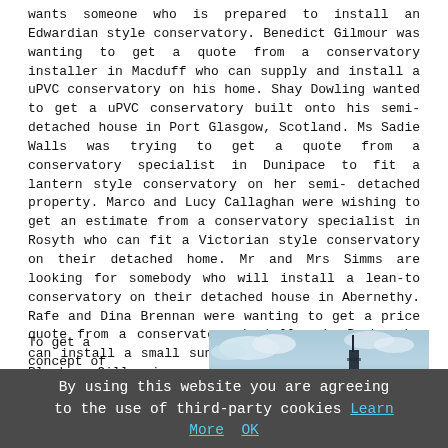wants someone who is prepared to install an Edwardian style conservatory. Benedict Gilmour was wanting to get a quote from a conservatory installer in Macduff who can supply and install a uPVC conservatory on his home. Shay Dowling wanted to get a uPVC conservatory built onto his semi-detached house in Port Glasgow, Scotland. Ms Sadie Walls was trying to get a quote from a conservatory specialist in Dunipace to fit a lantern style conservatory on her semi-detached property. Marco and Lucy Callaghan were wishing to get an estimate from a conservatory specialist in Rosyth who can fit a Victorian style conservatory on their detached home. Mr and Mrs Simms are looking for somebody who will install a lean-to conservatory on their detached house in Abernethy. Rafe and Dina Brennan were wanting to get a price quote from a conservatory installer in Busby who can install a small sunroom on their family home. Blanka Gillespie wanted to get a timber conservatory built onto her semi-detached property near to Halkirk in Scotland.
Conservatory Help and Guidance
To get a concept of
[Figure (photo): Partial photo showing a blue sky with clouds and what appears to be a tower or spire structure.]
By using this website you are agreeing to the use of third-party cookies Learn More OK